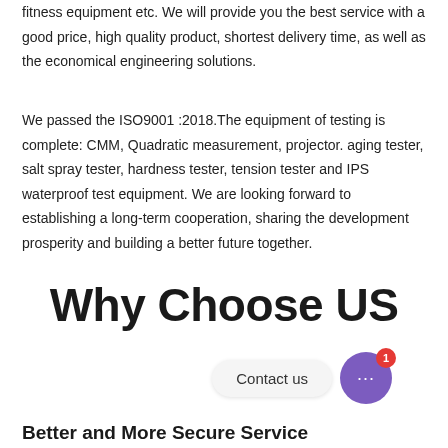fitness equipment etc. We will provide you the best service with a good price, high quality product, shortest delivery time, as well as the economical engineering solutions.
We passed the ISO9001 :2018.The equipment of testing is complete: CMM, Quadratic measurement, projector. aging tester, salt spray tester, hardness tester, tension tester and IPS waterproof test equipment. We are looking forward to establishing a long-term cooperation, sharing the development prosperity and building a better future together.
Why Choose US
Contact us
Better and More Secure Service